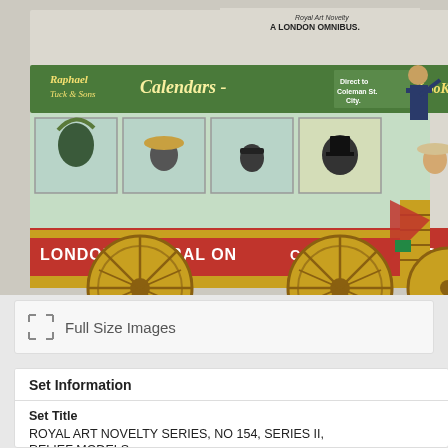[Figure (illustration): A vintage illustration of a London Omnibus (horse-drawn double-decker bus) labeled 'London General Omnibus Co.' with advertisements for 'Raphael Tuck & Sons Calendars'. Passengers are visible inside and on top. Text at top reads 'A LONDON OMNIBUS'. The bus has large wooden spoke wheels painted gold/yellow.]
Full Size Images
Set Information
Set Title
ROYAL ART NOVELTY SERIES, NO 154, SERIES II, RELIEF MODELS
Item I
Item T
Item C